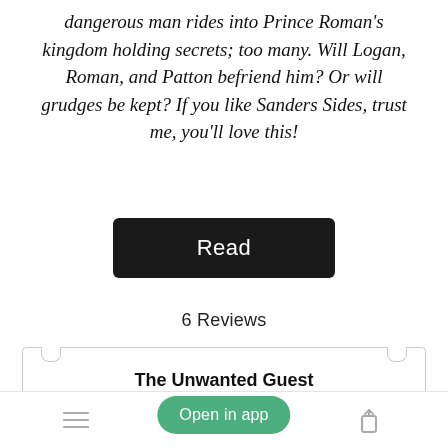dangerous man rides into Prince Roman's kingdom holding secrets; too many. Will Logan, Roman, and Patton befriend him? Or will grudges be kept? If you like Sanders Sides, trust me, you'll love this!
[Figure (other): Black 'Read' button]
6 Reviews
The Unwanted Guest
Reviewed by Hayden
[Figure (other): Green 'Open in app' pill button overlay]
Bottom navigation bar with list icon, bookmark icon, and share icon